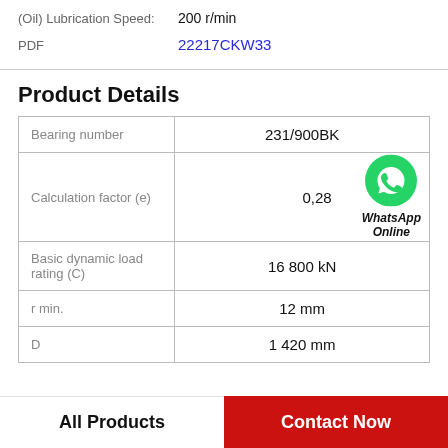(Oil) Lubrication Speed: 200 r/min
PDF 22217CKW33
Product Details
|  |  |
| --- | --- |
| Bearing number | 231/900BK |
| Calculation factor (e) | 0,28 |
| Basic dynamic load rating (C) | 16 800 kN |
| r min. | 12 mm |
| D | 1 420 mm |
All Products
Contact Now